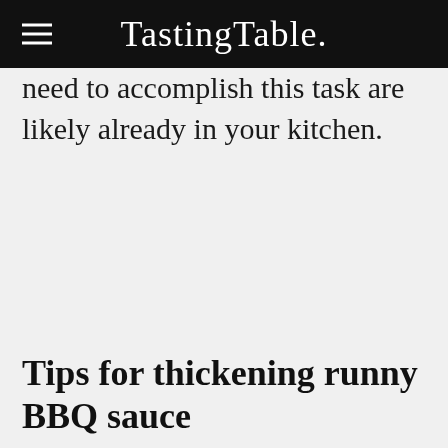Tasting Table.
need to accomplish this task are likely already in your kitchen.
Tips for thickening runny BBQ sauce